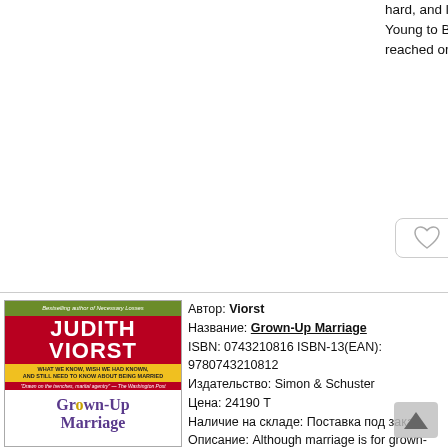hard, and learning a new trick or two as part of our job description at seventy. "I'm Too Young to Be Seventy" is a joy to read and makes a heartwarming gift for anyone who has reached or is soon to reach that it s not so bad after all seventh decade."
[Figure (illustration): Heart/like button icon]
[Figure (photo): Book cover: Grown-Up Marriage by Judith Viorst. Green and red cover with white title text.]
Автор: Viorst
Название: Grown-Up Marriage
ISBN: 0743210816 ISBN-13(EAN): 9780743210812
Издательство: Simon & Schuster
Цена: 24190 Т
Наличие на складе: Поставка под заказ.
Описание: Although marriage is for grown-ups, very few of us are grown up when we marry. Here, the bestselling author of Suddenly Sixty and Necessary Losses presents her life-affirming perspective on the joys, heartaches, difficulties, and possibilities of a grown-up marriage -- and no, that's not an oxymoron
Featuring interviews with married women and men, the findings of couples therapists, the truths offered by literature and movies, and a bemused exploration of her own marriage, Judith Viorst illuminates the issues